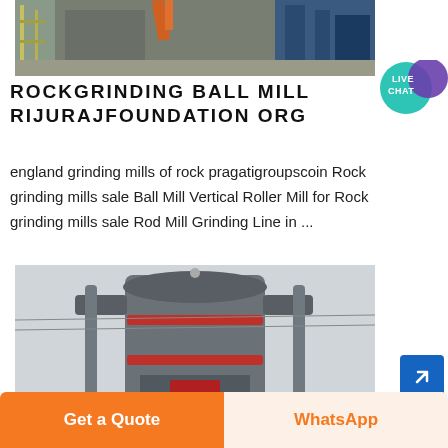[Figure (photo): Industrial grinding mill equipment at a factory/plant site with orange machinery visible]
ROCKGRINDING BALL MILL RIJURAJFOUNDATION ORG
england grinding mills of rock pragatigroupscoin Rock grinding mills sale Ball Mill Vertical Roller Mill for Rock grinding mills sale Rod Mill Grinding Line in ...
[Figure (photo): Close-up of a large vertical roller mill (industrial grinding equipment) showing cylindrical structure with red bands against a grey sky]
Get a Quote
WhatsApp